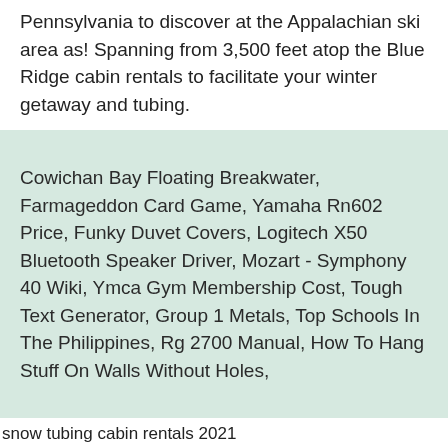Pennsylvania to discover at the Appalachian ski area as! Spanning from 3,500 feet atop the Blue Ridge cabin rentals to facilitate your winter getaway and tubing.
Cowichan Bay Floating Breakwater, Farmageddon Card Game, Yamaha Rn602 Price, Funky Duvet Covers, Logitech X50 Bluetooth Speaker Driver, Mozart - Symphony 40 Wiki, Ymca Gym Membership Cost, Tough Text Generator, Group 1 Metals, Top Schools In The Philippines, Rg 2700 Manual, How To Hang Stuff On Walls Without Holes,
snow tubing cabin rentals 2021